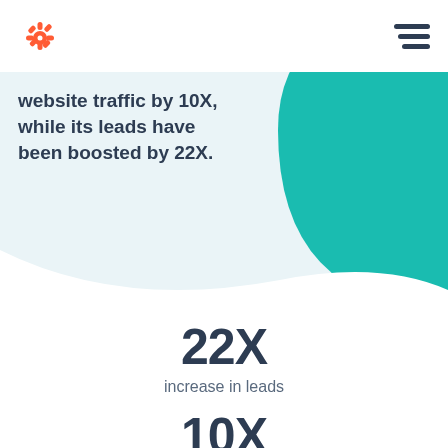[Figure (logo): HubSpot orange sprocket logo]
[Figure (illustration): Hamburger menu icon (three horizontal lines)]
website traffic by 10X, while its leads have been boosted by 22X.
[Figure (illustration): Large teal quarter-circle decorative shape on right side]
22X
increase in leads
10X
increase in organic website traffic